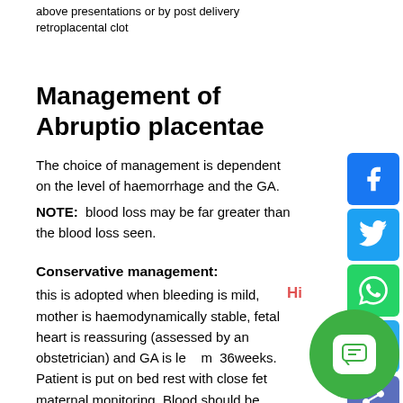above presentations or by post delivery retroplacental clot
Management of Abruptio placentae
The choice of management is dependent on the level of haemorrhage and the GA.
NOTE:  blood loss may be far greater than the blood loss seen.
Conservative management:
this is adopted when bleeding is mild, mother is haemodynamically stable, fetal heart is reassuring (assessed by an obstetrician) and GA is less than 36weeks. Patient is put on bed rest with close fetal and maternal monitoring. Blood should be transfused